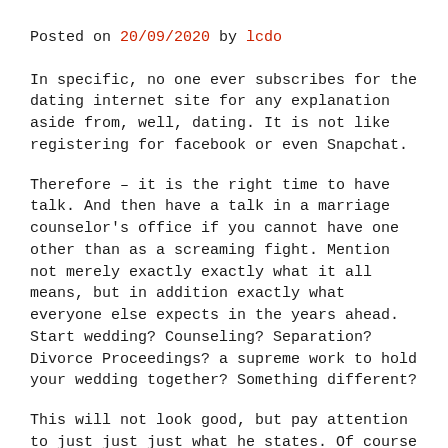Posted on 20/09/2020 by lcdo
In specific, no one ever subscribes for the dating internet site for any explanation aside from, well, dating. It is not like registering for facebook or even Snapchat.
Therefore – it is the right time to have talk. And then have a talk in a marriage counselor's office if you cannot have one other than as a screaming fight. Mention not merely exactly exactly what it all means, but in addition exactly what everyone else expects in the years ahead. Start wedding? Counseling? Separation? Divorce Proceedings? a supreme work to hold your wedding together? Something different?
This will not look good, but pay attention to just just just what he states. Of course he attempts to turn the tables once more, your reaction is, “Appropriate now, our company is dealing with you and maybe not me personally. If you fail to respond to my concerns without accusing me personally, then we are going to have this discussion in a therapist’s